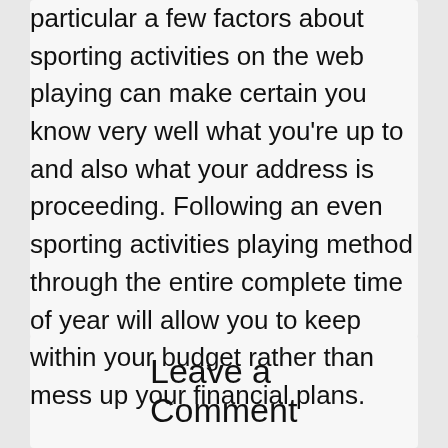particular a few factors about sporting activities on the web playing can make certain you know very well what you’re up to and also what your address is proceeding. Following an even sporting activities playing method through the entire complete time of year will allow you to keep within your budget rather than mess up your financial plans.
Leave a Comment